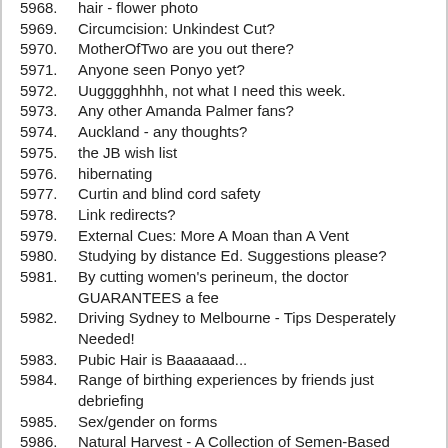5968. hair - flower photo
5969. Circumcision: Unkindest Cut?
5970. MotherOfTwo are you out there?
5971. Anyone seen Ponyo yet?
5972. Uugggghhhh, not what I need this week.
5973. Any other Amanda Palmer fans?
5974. Auckland - any thoughts?
5975. the JB wish list
5976. hibernating
5977. Curtin and blind cord safety
5978. Link redirects?
5979. External Cues: More A Moan than A Vent
5980. Studying by distance Ed. Suggestions please?
5981. By cutting women's perineum, the doctor GUARANTEES a fee
5982. Driving Sydney to Melbourne - Tips Desperately Needed!
5983. Pubic Hair is Baaaaaad...
5984. Range of birthing experiences by friends just debriefing
5985. Sex/gender on forms
5986. Natural Harvest - A Collection of Semen-Based Recipes
5987. Sultana up the nose
5988. Neighbouring child's tantrums
5989. Boots for kids - purchasing online
5990. Desperately seeking comic/cartoon artist
5991. Happy Birthday Cyclista!
5992. New computer - help and suggestions please
5993. Help - I need my Bubble
5994. one heck of a birth pool!
5995. Research Invitation